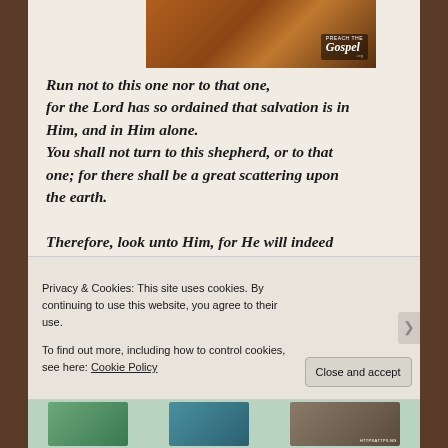[Figure (photo): Religious website header photo showing a candle or flame being held, with 'Preach the Gospel .org' branding overlay in bottom right.]
Run not to this one nor to that one, for the Lord has so ordained that salvation is in Him, and in Him alone.
You shall not turn to this shepherd, or to that one; for there shall be a great scattering upon the earth.

Therefore, look unto Him, for He will indeed make these things clear to you.
You shall not look here nor there, for wells that
Privacy & Cookies: This site uses cookies. By continuing to use this website, you agree to their use.
To find out more, including how to control cookies, see here: Cookie Policy
Close and accept